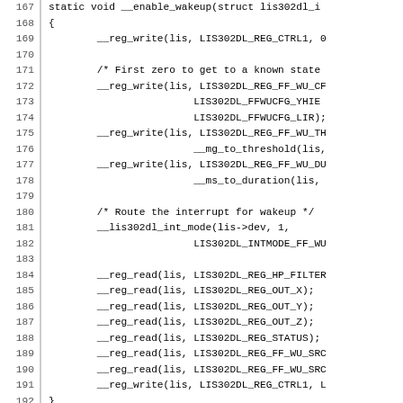Code listing lines 167-196, C source code for lis302dl driver wakeup and data collection functions